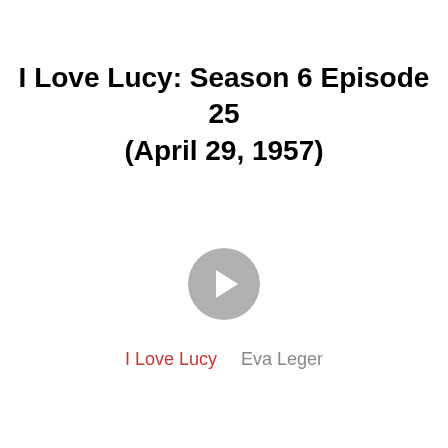I Love Lucy: Season 6 Episode 25 (April 29, 1957)
[Figure (other): A circular play button with a grey background and white triangle pointing right, representing a video player control.]
I Love Lucy    Eva Leger